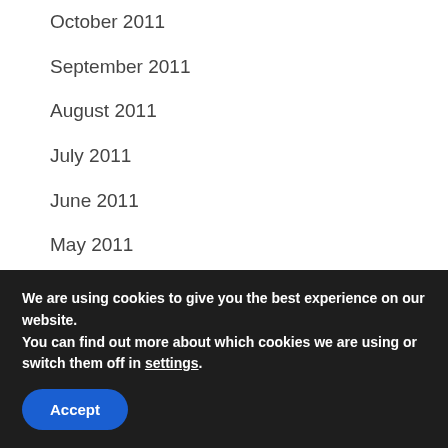October 2011
September 2011
August 2011
July 2011
June 2011
May 2011
April 2011
March 2011
February 2011
January 2011
We are using cookies to give you the best experience on our website.
You can find out more about which cookies we are using or switch them off in settings.
Accept